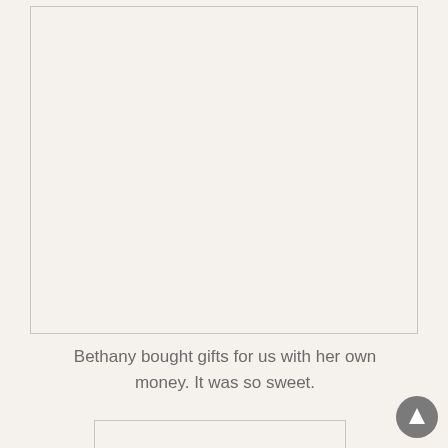[Figure (photo): Large image placeholder box at top of page]
Bethany bought gifts for us with her own money. It was so sweet.
[Figure (photo): Smaller image placeholder box at bottom of page]